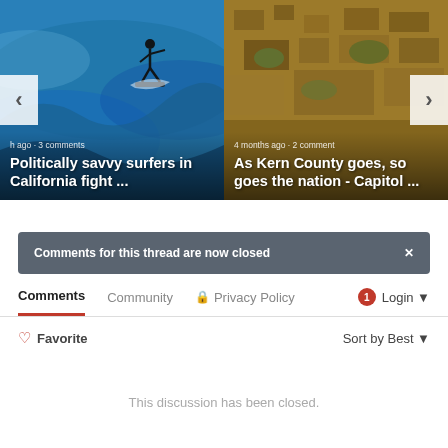[Figure (screenshot): Carousel with two article cards. Left card shows a surfer silhouette on blue ocean waves with text 'h ago · 3 comments' and title 'Politically savvy surfers in California fight ...'. Right card shows an aerial view of a city/town with text '4 months ago · 2 comments' and title 'As Kern County goes, so goes the nation - Capitol ...'. Navigation arrows on left and right sides.]
Comments for this thread are now closed
Comments  Community  🔒 Privacy Policy  1  Login
♡ Favorite   Sort by Best
This discussion has been closed.